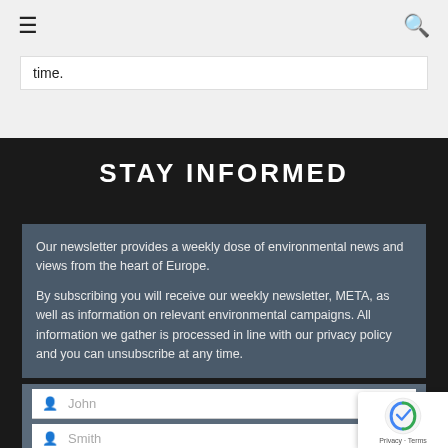≡  🔍
time.
STAY INFORMED
Our newsletter provides a weekly dose of environmental news and views from the heart of Europe.

By subscribing you will receive our weekly newsletter, META, as well as information on relevant environmental campaigns. All information we gather is processed in line with our privacy policy and you can unsubscribe at any time.
John
Smith